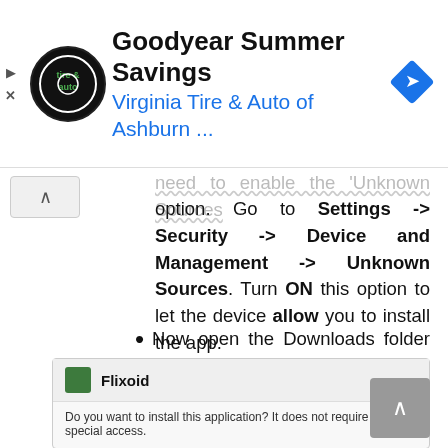[Figure (screenshot): Google ad banner for Goodyear Summer Savings by Virginia Tire & Auto of Ashburn with logo and navigation arrow icon]
need to enable the 'Unknown Sources' option. Go to Settings -> Security -> Device and Management -> Unknown Sources. Turn ON this option to let the device allow you to install the app.
Now open the Downloads folder and find the location of the downloaded Flixoid APK file.
[Figure (screenshot): Android install dialog showing Flixoid app icon, name 'Flixoid', and text: Do you want to install this application? It does not require any special access.]